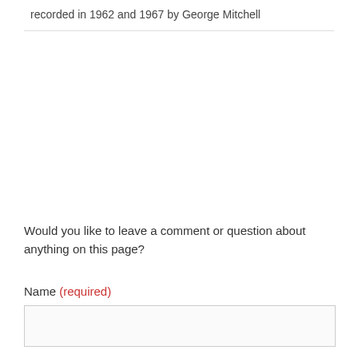recorded in 1962 and 1967 by George Mitchell
Would you like to leave a comment or question about anything on this page?
Name (required)